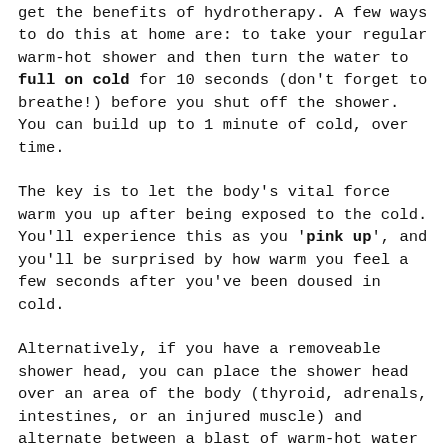get the benefits of hydrotherapy. A few ways to do this at home are: to take your regular warm-hot shower and then turn the water to full on cold for 10 seconds (don't forget to breathe!) before you shut off the shower. You can build up to 1 minute of cold, over time.
The key is to let the body's vital force warm you up after being exposed to the cold. You'll experience this as you 'pink up', and you'll be surprised by how warm you feel a few seconds after you've been doused in cold.
Alternatively, if you have a removeable shower head, you can place the shower head over an area of the body (thyroid, adrenals, intestines, or an injured muscle) and alternate between a blast of warm-hot water for 10 seconds to a blast of cold water for 10 seconds for 2-3 rounds of each. Be sure to always end on cold